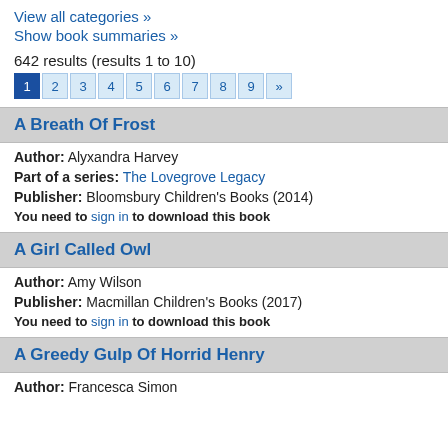View all categories »
Show book summaries »
642 results (results 1 to 10)
1 2 3 4 5 6 7 8 9 »
A Breath Of Frost
Author: Alyxandra Harvey
Part of a series: The Lovegrove Legacy
Publisher: Bloomsbury Children's Books (2014)
You need to sign in to download this book
A Girl Called Owl
Author: Amy Wilson
Publisher: Macmillan Children's Books (2017)
You need to sign in to download this book
A Greedy Gulp Of Horrid Henry
Author: Francesca Simon